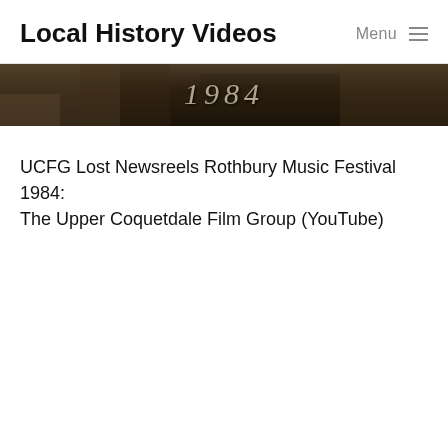Local History Videos | Menu
[Figure (photo): Dark video thumbnail showing the year '1984' in pale italic text overlaid on a dark, mottled earthy background suggestive of archival film footage.]
UCFG Lost Newsreels Rothbury Music Festival 1984: The Upper Coquetdale Film Group (YouTube)